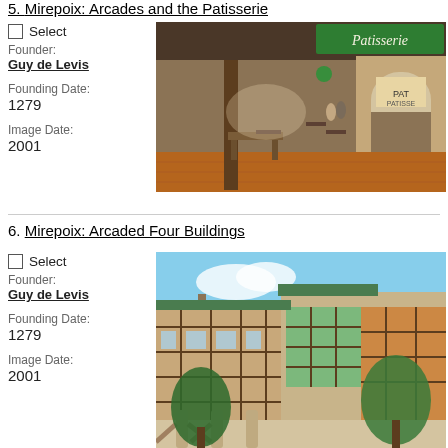5. [Mirepoix: Arcades and the Patisserie]
Select
Founder: Guy de Levis
Founding Date: 1279
Image Date: 2001
[Figure (photo): Photo of arcaded market walkway in Mirepoix with outdoor café seating, a Patisserie sign visible, terracotta tile floor, wooden ceiling beams]
6. Mirepoix: Arcaded Four Buildings
Select
Founder: Guy de Levis
Founding Date: 1279
Image Date: 2001
[Figure (photo): Photo of half-timbered arcaded buildings in Mirepoix with trees in foreground, colorful timber-frame facades visible]